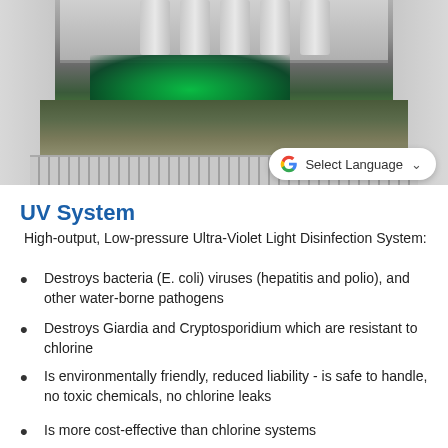[Figure (photo): UV disinfection system installed in a water treatment channel, showing metal pipes/ballasts mounted above a concrete channel with green UV light glowing on the water surface, with metal grating at the bottom. A Google Translate 'Select Language' button overlays the lower right of the image.]
UV System
High-output, Low-pressure Ultra-Violet Light Disinfection System:
Destroys bacteria (E. coli) viruses (hepatitis and polio), and other water-borne pathogens
Destroys Giardia and Cryptosporidium which are resistant to chlorine
Is environmentally friendly, reduced liability - is safe to handle, no toxic chemicals, no chlorine leaks
Is more cost-effective than chlorine systems